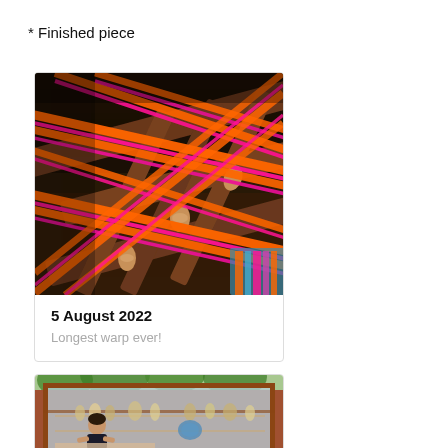* Finished piece
[Figure (photo): Close-up photo of a weaving loom with bright orange and pink/magenta yarn threads stretched diagonally across wooden frame pieces, with small wooden pegs visible.]
5 August 2022
Longest warp ever!
[Figure (photo): Photo of a woman sitting at a table inside what appears to be a shop or cafe with large glass windows, shelves with glassware visible in the background.]